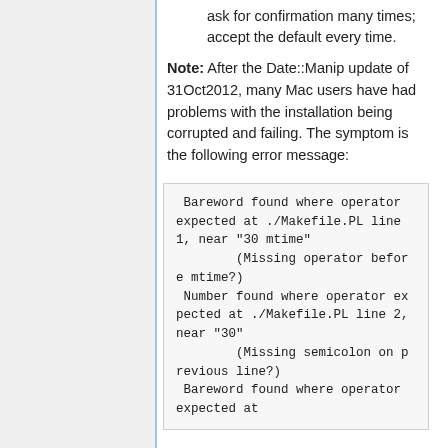ask for confirmation many times; accept the default every time.
Note: After the Date::Manip update of 31Oct2012, many Mac users have had problems with the installation being corrupted and failing. The symptom is the following error message:
Bareword found where operator expected at ./Makefile.PL line 1, near "30 mtime"
        (Missing operator before mtime?)
 Number found where operator expected at ./Makefile.PL line 2, near "30"
        (Missing semicolon on previous line?)
 Bareword found where operator expected at